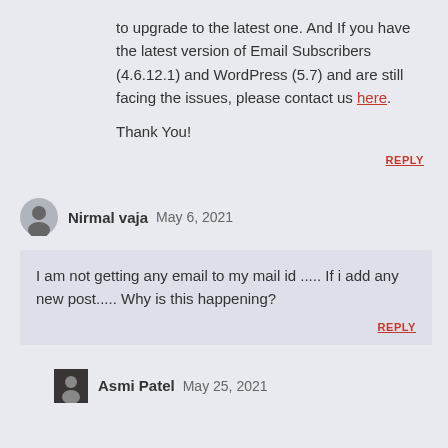to upgrade to the latest one. And If you have the latest version of Email Subscribers (4.6.12.1) and WordPress (5.7) and are still facing the issues, please contact us here.
Thank You!
REPLY
Nirmal vaja  May 6, 2021
I am not getting any email to my mail id ..... If i add any new post..... Why is this happening?
REPLY
Asmi Patel  May 25, 2021